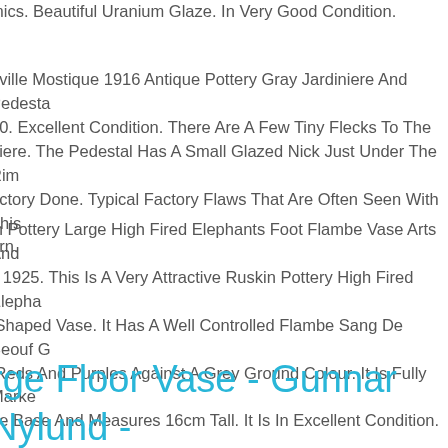mics. Beautiful Uranium Glaze. In Very Good Condition.
eville Mostique 1916 Antique Pottery Gray Jardiniere And Pedesta 10. Excellent Condition. There Are A Few Tiny Flecks To The niere. The Pedestal Has A Small Glazed Nick Just Under The Rim actory Done. Typical Factory Flaws That Are Often Seen With This ern.
in Pottery Large High Fired Elephants Foot Flambe Vase Arts And s 1925. This Is A Very Attractive Ruskin Pottery High Fired Elepha Shaped Vase. It Has A Well Controlled Flambe Sang De Beouf G Reds And Purples Against A Grey Ground Colour. It Is Fully Marke he Base And Measures 16cm Tall. It Is In Excellent Condition.
rge Floor Vase - Gunnar Nylund - Örstrand (rorstrand)